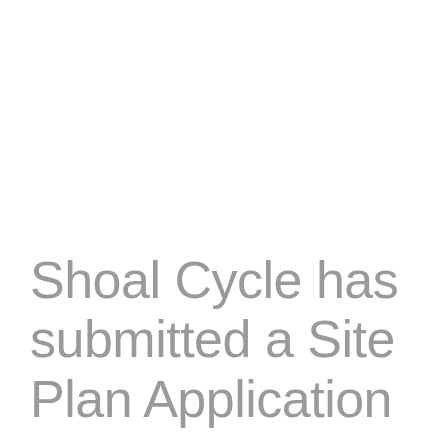Shoal Cycle has submitted a Site Plan Application